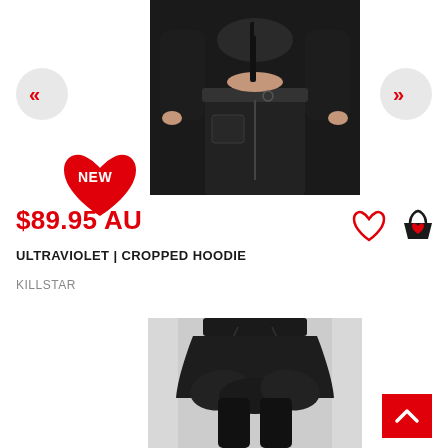[Figure (photo): Black cropped hoodie product photo on model, showing waist and lower body area with black pants and hoodie]
[Figure (illustration): Navigation left chevron button (<<)]
[Figure (illustration): Navigation right chevron button (>>)]
[Figure (illustration): NEW heart badge in red]
$89.95 AU
[Figure (illustration): Heart (wishlist) icon and shopping basket icon]
ULTRAVIOLET | CROPPED HOODIE
KILLSTAR
[Figure (photo): Black layered skirt product photo on model]
[Figure (illustration): Back to top button with upward chevron]